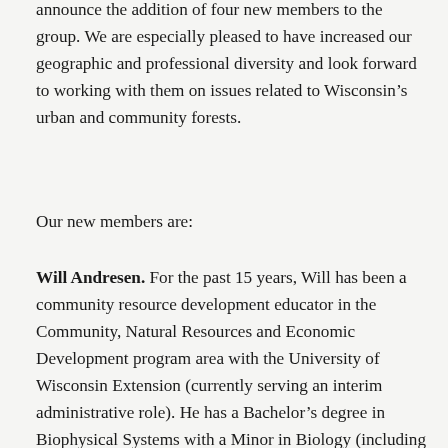announce the addition of four new members to the group. We are especially pleased to have increased our geographic and professional diversity and look forward to working with them on issues related to Wisconsin's urban and community forests.
Our new members are:
Will Andresen. For the past 15 years, Will has been a community resource development educator in the Community, Natural Resources and Economic Development program area with the University of Wisconsin Extension (currently serving an interim administrative role). He has a Bachelor's degree in Biophysical Systems with a Minor in Biology (including an internship with the USFS) and a Master's degree in Geography with a Specialization in Planning. His past responsibilities include community planning consultant,